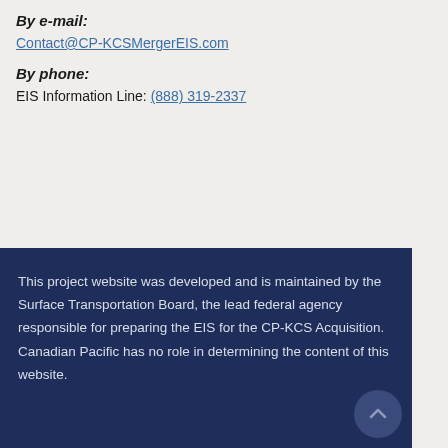By e-mail:
Contact@CP-KCSMergerEIS.com
By phone:
EIS Information Line: (888) 319-2337
This project website was developed and is maintained by the Surface Transportation Board, the lead federal agency responsible for preparing the EIS for the CP-KCS Acquisition. Canadian Pacific has no role in determining the content of this website.